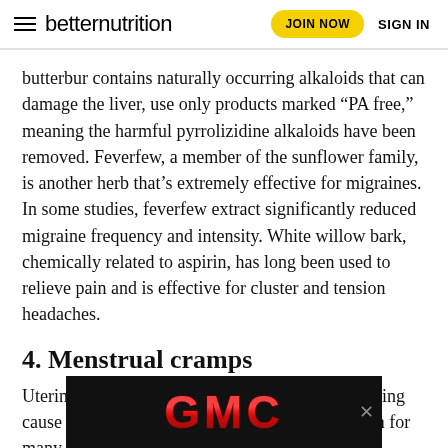betternutrition | JOIN NOW | SIGN IN
butterbur contains naturally occurring alkaloids that can damage the liver, use only products marked “PA free,” meaning the harmful pyrrolizidine alkaloids have been removed. Feverfew, a member of the sunflower family, is another herb that’s extremely effective for migraines. In some studies, feverfew extract significantly reduced migraine frequency and intensity. White willow bark, chemically related to aspirin, has long been used to relieve pain and is effective for cluster and tension headaches.
4. Menstrual cramps
Uterine contractions from shedding the uterine lining cause cramping and pain in the back and abdomen for many women each mo... rarely, cl...
[Figure (logo): GMC logo advertisement banner with red metallic GMC letters on black background]